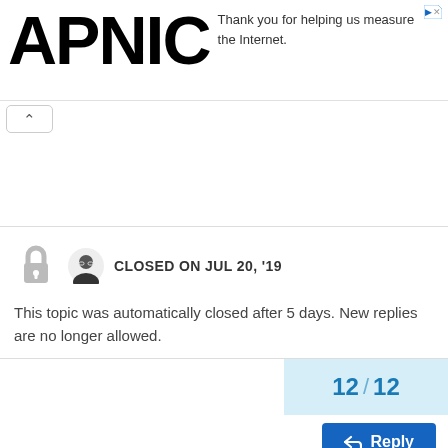[Figure (logo): APNIC logo in large bold black text]
Thank you for helping us measure the Internet.
[Figure (other): Collapse/up-arrow button]
CLOSED ON JUL 20, '19
This topic was automatically closed after 5 days. New replies are no longer allowed.
12 / 12
Reply
ADVERTISEMENT